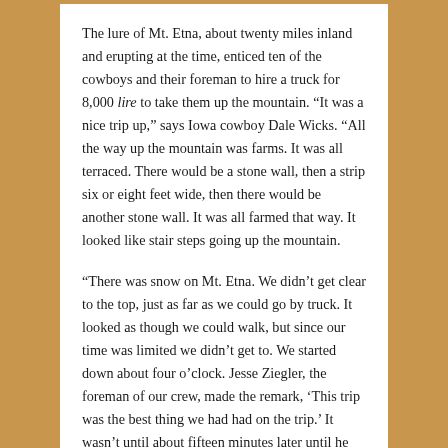The lure of Mt. Etna, about twenty miles inland and erupting at the time, enticed ten of the cowboys and their foreman to hire a truck for 8,000 lire to take them up the mountain. “It was a nice trip up,” says Iowa cowboy Dale Wicks. “All the way up the mountain was farms. It was all terraced. There would be a stone wall, then a strip six or eight feet wide, then there would be another stone wall. It was all farmed that way. It looked like stair steps going up the mountain.
“There was snow on Mt. Etna. We didn’t get clear to the top, just as far as we could go by truck. It looked as though we could walk, but since our time was limited we didn’t get to. We started down about four o’clock. Jesse Ziegler, the foreman of our crew, made the remark, ‘This trip was the best thing we had had on the trip.’ It wasn’t until about fifteen minutes later until he was dead.”
The truck, as it turned out, had faulty brakes. “The driver was depending on shifting down to hold the speed down,”